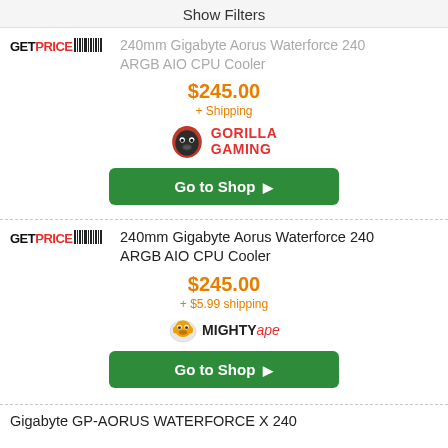Show Filters
240mm Gigabyte Aorus Waterforce 240 ARGB AIO CPU Cooler
$245.00
+ Shipping
[Figure (logo): Gorilla Gaming retailer logo with gorilla icon]
Go to Shop ▶
240mm Gigabyte Aorus Waterforce 240 ARGB AIO CPU Cooler
$245.00
+ $5.99 shipping
[Figure (logo): Mighty Ape retailer logo]
Go to Shop ▶
Gigabyte GP-AORUS WATERFORCE X 240